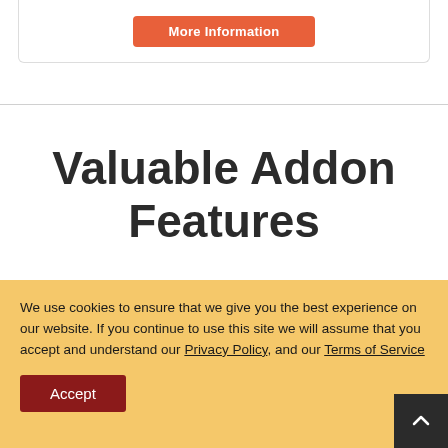[Figure (screenshot): Orange 'More Information' button inside a card with border]
Valuable Addon Features
You'll be impressed with our offerings.
We use cookies to ensure that we give you the best experience on our website. If you continue to use this site we will assume that you accept and understand our Privacy Policy, and our Terms of Service
Accept